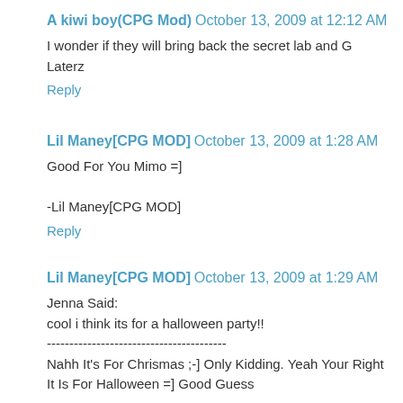A kiwi boy(CPG Mod)  October 13, 2009 at 12:12 AM
I wonder if they will bring back the secret lab and G
Laterz
Reply
Lil Maney[CPG MOD]  October 13, 2009 at 1:28 AM
Good For You Mimo =]

-Lil Maney[CPG MOD]
Reply
Lil Maney[CPG MOD]  October 13, 2009 at 1:29 AM
Jenna Said:
cool i think its for a halloween party!!
----------------------------------------
Nahh It's For Chrismas ;-] Only Kidding. Yeah Your Right It Is For Halloween =] Good Guess